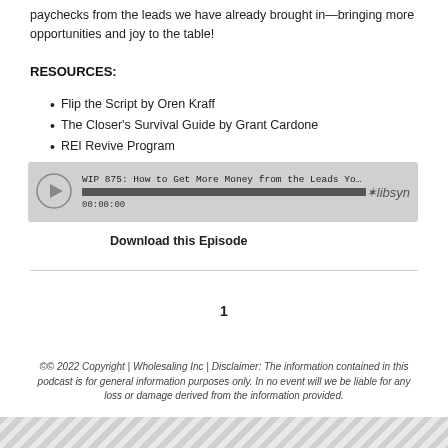paychecks from the leads we have already brought in—bringing more opportunities and joy to the table!
RESOURCES:
Flip the Script by Oren Kraff
The Closer's Survival Guide by Grant Cardone
REI Revive Program
[Figure (other): Audio player widget for episode 'WIP 875: How to Get More Money from the Leads You Alr...' showing progress bar and timestamp 00:00:00, with Libsyn branding]
Download this Episode
1
©© 2022 Copyright | Wholesaling Inc | Disclaimer: The information contained in this podcast is for general information purposes only. In no event will we be liable for any loss or damage derived from the information provided.